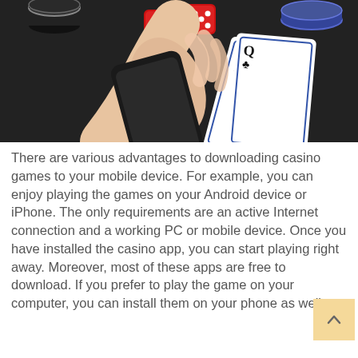[Figure (photo): A hand holding a smartphone surrounded by casino items: playing cards (Queen of clubs, King of clubs visible), red dice, and poker chips on a dark background.]
There are various advantages to downloading casino games to your mobile device. For example, you can enjoy playing the games on your Android device or iPhone. The only requirements are an active Internet connection and a working PC or mobile device. Once you have installed the casino app, you can start playing right away. Moreover, most of these apps are free to download. If you prefer to play the game on your computer, you can install them on your phone as well.